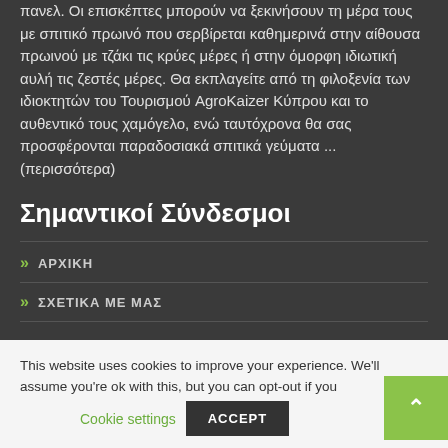πανελ. Οι επισκέπτες μπορούν να ξεκινήσουν τη μέρα τους με σπιτικό πρωινό που σερβίρεται καθημερινά στην αίθουσα πρωινού με τζάκι τις κρύες μέρες ή στην όμορφη ιδιωτική αυλή τις ζεστές μέρες. Θα εκπλαγείτε από τη φιλοξενία των ιδιοκτητών του Τουρισμού AgroKaizer Κύπρου και το αυθεντικό τους χαμόγελο, ενώ ταυτόχρονα θα σας προσφέρονται παραδοσιακά σπιτικά γεύματα ... (περισσότερα)
Σημαντικοί Σύνδεσμοι
ΑΡΧΙΚΗ
ΣΧΕΤΙΚΑ ΜΕ ΜΑΣ
This website uses cookies to improve your experience. We'll assume you're ok with this, but you can opt-out if yo...
Cookie settings
ACCEPT